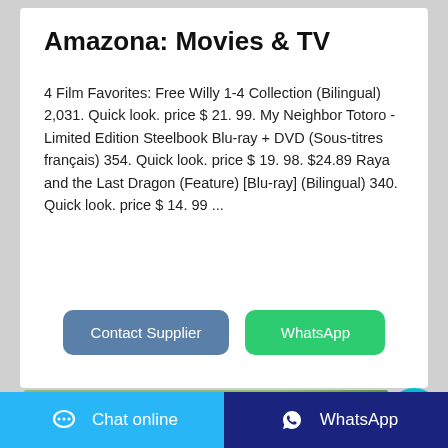Amazona: Movies & TV
4 Film Favorites: Free Willy 1-4 Collection (Bilingual) 2,031. Quick look. price $ 21. 99. My Neighbor Totoro - Limited Edition Steelbook Blu-ray + DVD (Sous-titres français) 354. Quick look. price $ 19. 98. $24.89 Raya and the Last Dragon (Feature) [Blu-ray] (Bilingual) 340. Quick look. price $ 14. 99 ...
[Figure (screenshot): Contact Supplier and WhatsApp buttons]
[Figure (photo): Green colored image preview at bottom of card]
[Figure (infographic): Bottom navigation bar with Chat online (light blue) and WhatsApp (dark blue) buttons]